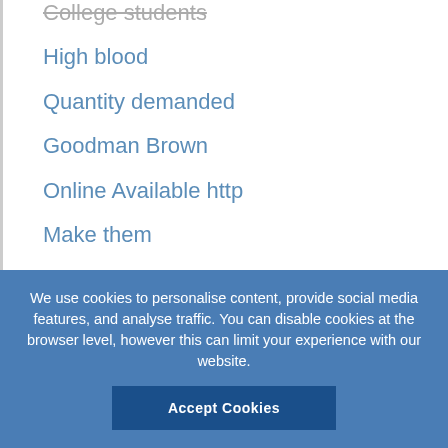College students
High blood
Quantity demanded
Goodman Brown
Online Available http
Make them
Canterbury Tales
Minimum wage
Chemical substance
Credit card
Video games
North America
Main character
We use cookies to personalise content, provide social media features, and analyse traffic. You can disable cookies at the browser level, however this can limit your experience with our website.
Accept Cookies